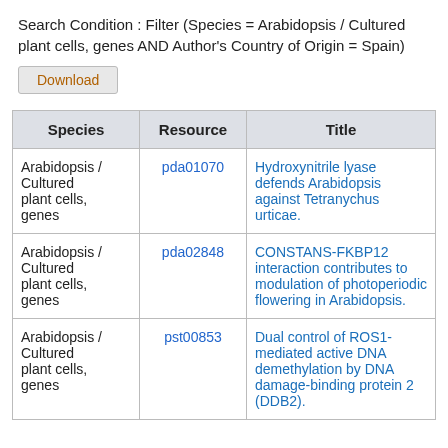Search Condition : Filter (Species = Arabidopsis / Cultured plant cells, genes AND Author's Country of Origin = Spain)
| Species | Resource | Title |
| --- | --- | --- |
| Arabidopsis / Cultured plant cells, genes | pda01070 | Hydroxynitrile lyase defends Arabidopsis against Tetranychus urticae. |
| Arabidopsis / Cultured plant cells, genes | pda02848 | CONSTANS-FKBP12 interaction contributes to modulation of photoperiodic flowering in Arabidopsis. |
| Arabidopsis / Cultured plant cells, genes | pst00853 | Dual control of ROS1-mediated active DNA demethylation by DNA damage-binding protein 2 (DDB2). |